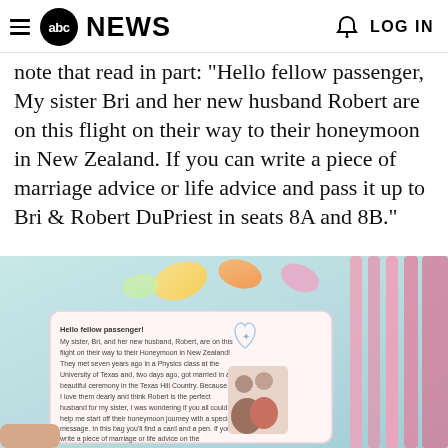abc NEWS  LOG IN
note that read in part: "Hello fellow passenger, My sister Bri and her new husband Robert are on this flight on their way to their honeymoon in New Zealand. If you can write a piece of marriage advice or life advice and pass it up to Bri & Robert DuPriest in seats 8A and 8B."
[Figure (photo): Photo of a small card/note inside a clear plastic bag filled with candy. The card reads: 'Hello fellow passenger! My sister, Bri, and her new husband, Robert, are on this flight on their way to their Honeymoon in New Zealand! They met seven years ago in a Physics class at the University of Texas and, two days ago, got married in a beautiful ceremony in the Texas Hill Country. Because I love them dearly and think Robert is the perfect husband for my sister, I was wondering if you all could help me start off their honeymoon journey with a special message. In this bag you'll find a card and a pen. If you write a piece of marriage or life advice on the ... DuPriest in'. A small photo of the couple is visible on the card. The bag contains colorful candy pieces.]